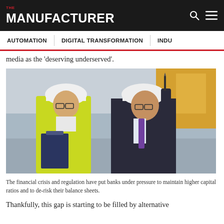THE MANUFACTURER
AUTOMATION | DIGITAL TRANSFORMATION | INDU...
media as the 'deserving underserved'.
[Figure (photo): Two men wearing white hard hats in an industrial setting. The man on the left wears a yellow high-visibility vest and holds a clipboard. The man on the right wears a dark suit with a purple tie and holds a pen, pointing upward.]
The financial crisis and regulation have put banks under pressure to maintain higher capital ratios and to de-risk their balance sheets.
Thankfully, this gap is starting to be filled by alternative